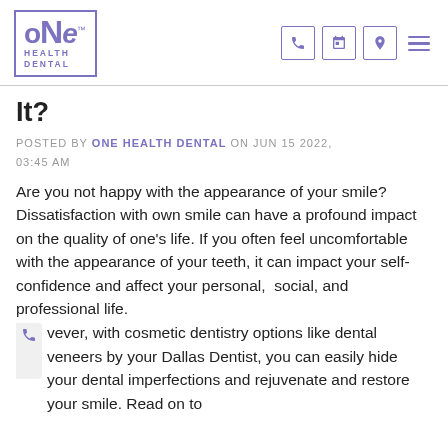ONE HEALTH DENTAL — navigation header with logo and icons
It?
POSTED BY ONE HEALTH DENTAL ON JUN 15 2022, 03:45 AM
Are you not happy with the appearance of your smile? Dissatisfaction with own smile can have a profound impact on the quality of one's life. If you often feel uncomfortable with the appearance of your teeth, it can impact your self-confidence and affect your personal, social, and professional life. However, with cosmetic dentistry options like dental veneers by your Dallas Dentist, you can easily hide your dental imperfections and rejuvenate and restore your smile. Read on to